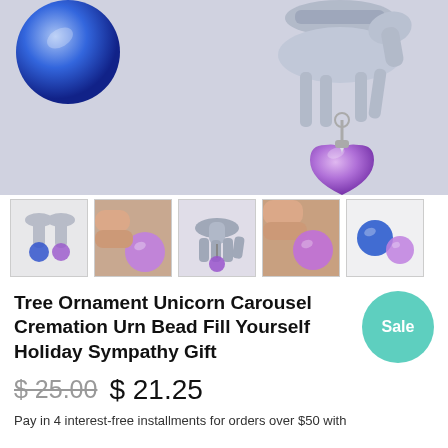[Figure (photo): Main product photo showing a purple heart-shaped crystal bead pendant hanging from a silver unicorn/horse charm, with a blue glass orb in the upper left, on a light lavender-grey background.]
[Figure (photo): Thumbnail 1: Silver horse earrings with blue and purple beads.]
[Figure (photo): Thumbnail 2: Fingers holding a round purple glass bead.]
[Figure (photo): Thumbnail 3: Silver carousel horse charm with purple bead.]
[Figure (photo): Thumbnail 4: Fingers holding a purple glass bead close-up.]
[Figure (photo): Thumbnail 5: Blue and purple glass beads on white background.]
Tree Ornament Unicorn Carousel Cremation Urn Bead Fill Yourself Holiday Sympathy Gift
$ 25.00  $ 21.25
Pay in 4 interest-free installments for orders over $50 with